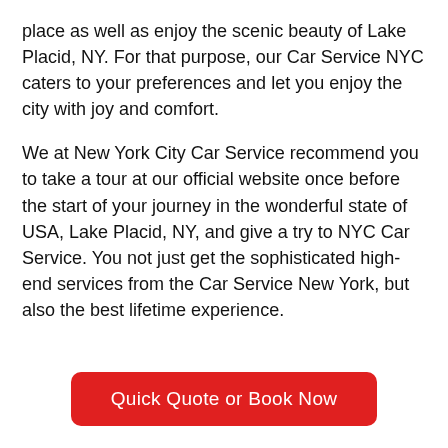place as well as enjoy the scenic beauty of Lake Placid, NY. For that purpose, our Car Service NYC caters to your preferences and let you enjoy the city with joy and comfort.
We at New York City Car Service recommend you to take a tour at our official website once before the start of your journey in the wonderful state of USA, Lake Placid, NY, and give a try to NYC Car Service. You not just get the sophisticated high-end services from the Car Service New York, but also the best lifetime experience.
Quick Quote or Book Now